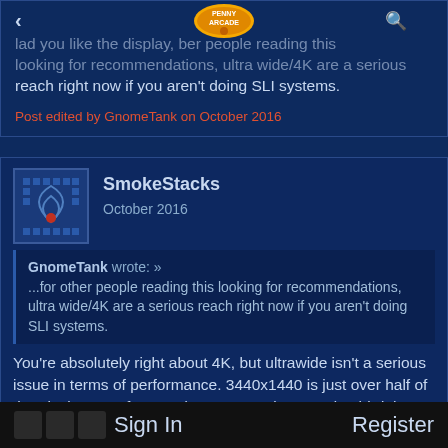glad you like the display, but for other people reading this looking for recommendations, ultra wide/4K are a serious reach right now if you aren't doing SLI systems.
Post edited by GnomeTank on October 2016
SmokeStacks
October 2016
GnomeTank wrote: » ...for other people reading this looking for recommendations, ultra wide/4K are a serious reach right now if you aren't doing SLI systems.
You're absolutely right about 4K, but ultrawide isn't a serious issue in terms of performance. 3440x1440 is just over half of the pixel count of 4K, and 2560x1080 is around a third the pixel count.
Sign In    Register